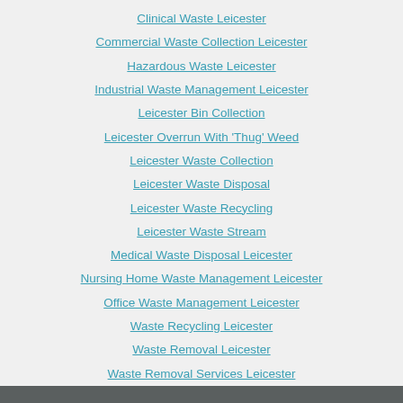Clinical Waste Leicester
Commercial Waste Collection Leicester
Hazardous Waste Leicester
Industrial Waste Management Leicester
Leicester Bin Collection
Leicester Overrun With 'Thug' Weed
Leicester Waste Collection
Leicester Waste Disposal
Leicester Waste Recycling
Leicester Waste Stream
Medical Waste Disposal Leicester
Nursing Home Waste Management Leicester
Office Waste Management Leicester
Waste Recycling Leicester
Waste Removal Leicester
Waste Removal Services Leicester
Copyright - Waste Leicester
Call 0116 340 0830